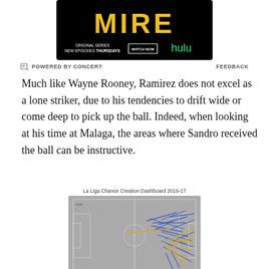[Figure (photo): Hulu advertisement banner with yellow block letters on black background reading 'MIRE', with text 'ORIGINAL SERIES NEW EPISODES THURSDAYS', a WATCH NOW button, and the Hulu logo in green]
POWERED BY CONCERT   FEEDBACK
Much like Wayne Rooney, Ramirez does not excel as a lone striker, due to his tendencies to drift wide or come deep to pick up the ball. Indeed, when looking at his time at Malaga, the areas where Sandro received the ball can be instructive.
[Figure (other): La Liga Chance Creation Dashboard 2016-17 showing a football pitch with blue and yellow lines indicating ball receipt zones in the right half of the pitch, concentrated in attacking areas. Opta branded.]